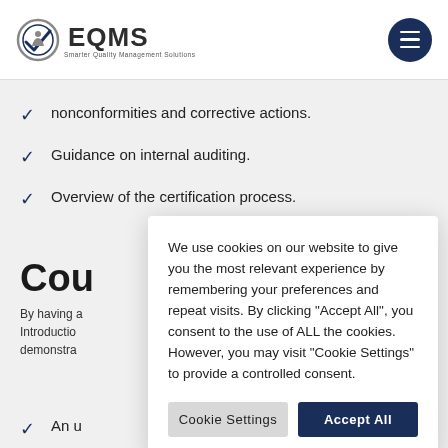[Figure (logo): EQMS logo with checkmark icon and text 'Smarter Quality Management Solutions']
nonconformities and corrective actions.
Guidance on internal auditing.
Overview of the certification process.
Cou
By having a
Introduction
demonstra
An u
We use cookies on our website to give you the most relevant experience by remembering your preferences and repeat visits. By clicking "Accept All", you consent to the use of ALL the cookies. However, you may visit "Cookie Settings" to provide a controlled consent.